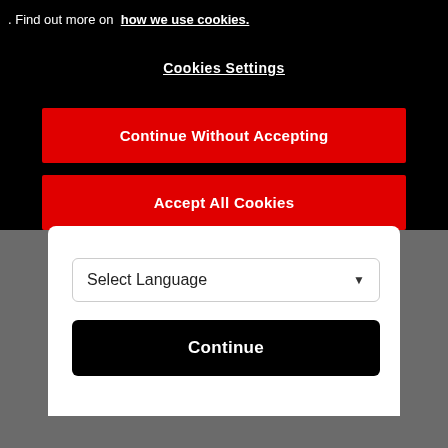. Find out more on how we use cookies.
Cookies Settings
Continue Without Accepting
Accept All Cookies
Select Language
Continue